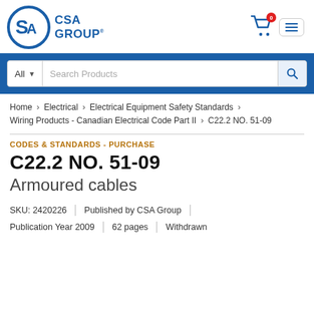[Figure (logo): CSA Group logo — circular blue SA emblem with CSA GROUP text in blue]
Search Products
Home > Electrical > Electrical Equipment Safety Standards > Wiring Products - Canadian Electrical Code Part II > C22.2 NO. 51-09
CODES & STANDARDS - PURCHASE
C22.2 NO. 51-09
Armoured cables
SKU: 2420226 | Published by CSA Group
Publication Year 2009 | 62 pages | Withdrawn